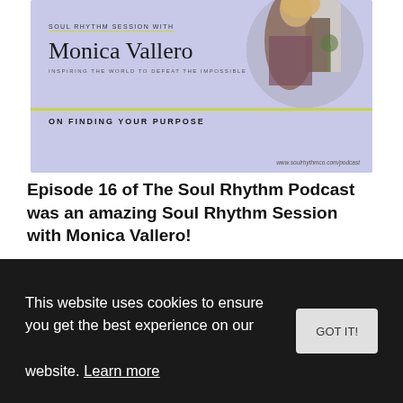[Figure (infographic): Podcast banner with light purple background showing Soul Rhythm Session with Monica Vallero, subtitle 'Inspiring the World to Defeat the Impossible', 'On Finding Your Purpose', website url www.soulrhythmco.com/podcast, and circular photo of a woman in a floral dress]
Episode 16 of The Soul Rhythm Podcast was an amazing Soul Rhythm Session with Monica Vallero!
Monica is a clinical hypnotherapist and success
This website uses cookies to ensure you get the best experience on our website. Learn more
business + rewire their mind to wealth, so they